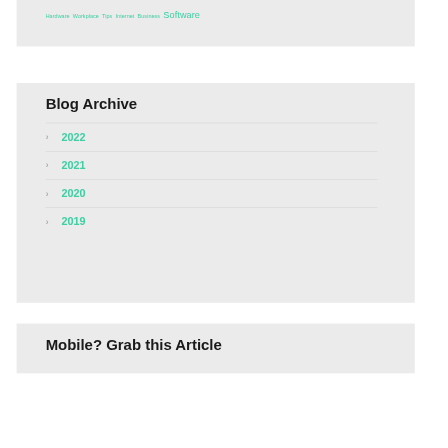Hardware Workplace Tips Internet Business Software
Blog Archive
2022
2021
2020
2019
Mobile? Grab this Article